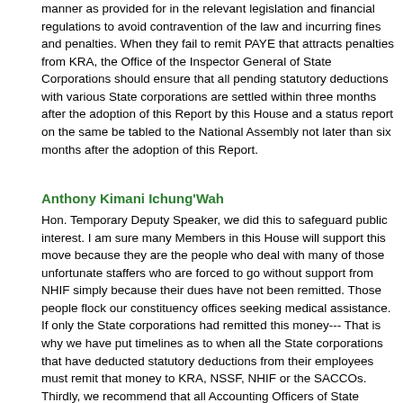manner as provided for in the relevant legislation and financial regulations to avoid contravention of the law and incurring fines and penalties. When they fail to remit PAYE that attracts penalties from KRA, the Office of the Inspector General of State Corporations should ensure that all pending statutory deductions with various State corporations are settled within three months after the adoption of this Report by this House and a status report on the same be tabled to the National Assembly not later than six months after the adoption of this Report.
Anthony Kimani Ichung'Wah
Hon. Temporary Deputy Speaker, we did this to safeguard public interest. I am sure many Members in this House will support this move because they are the people who deal with many of those unfortunate staffers who are forced to go without support from NHIF simply because their dues have not been remitted. Those people flock our constituency offices seeking medical assistance. If only the State corporations had remitted this money--- That is why we have put timelines as to when all the State corporations that have deducted statutory deductions from their employees must remit that money to KRA, NSSF, NHIF or the SACCOs. Thirdly, we recommend that all Accounting Officers of State corporations should ensure that their respective State